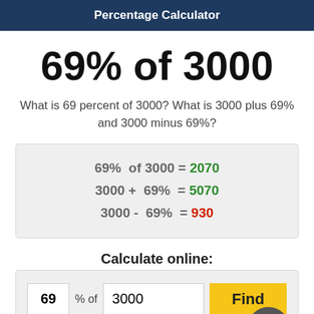Percentage Calculator
69% of 3000
What is 69 percent of 3000? What is 3000 plus 69% and 3000 minus 69%?
| 69%  of 3000 = 2070 |
| 3000 +  69%  = 5070 |
| 3000 -  69%  = 930 |
Calculate online:
Percent formula to figure out percentages: